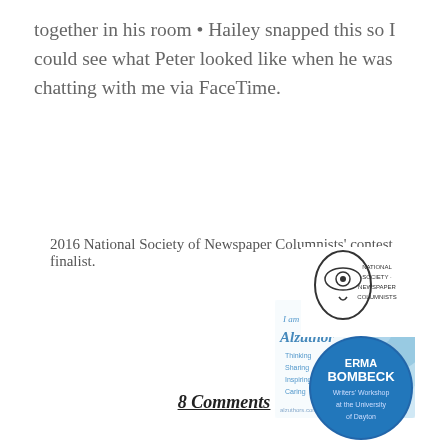together in his room • Hailey snapped this so I could see what Peter looked like when he was chatting with me via FaceTime.
[Figure (photo): Alzuthors badge/banner image with flowers and text 'I am an Alzuthor' with taglines: Thinking, Sharing, Inspiring, Caring and alzuthors.com]
2016 National Society of Newspaper Columnists' contest finalist.
[Figure (logo): National Society of Newspaper Columnists logo with stylized head/eye illustration and text 'National Society of Newspaper Columnists']
[Figure (logo): Erma Bombeck Writers' Workshop at University of Dayton circular blue badge logo]
8 Comments